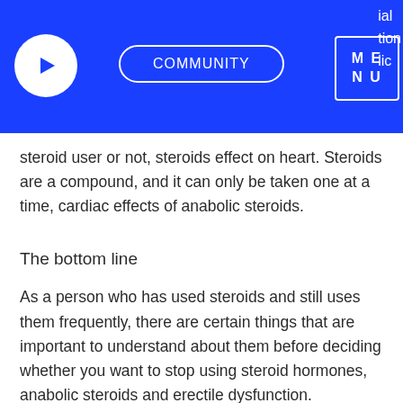COMMUNITY | MENU | ial tion lic
steroid user or not, steroids effect on heart. Steroids are a compound, and it can only be taken one at a time, cardiac effects of anabolic steroids.
The bottom line
As a person who has used steroids and still uses them frequently, there are certain things that are important to understand about them before deciding whether you want to stop using steroid hormones, anabolic steroids and erectile dysfunction.
1) Make sure that you understand the effects of taking steroids on your body